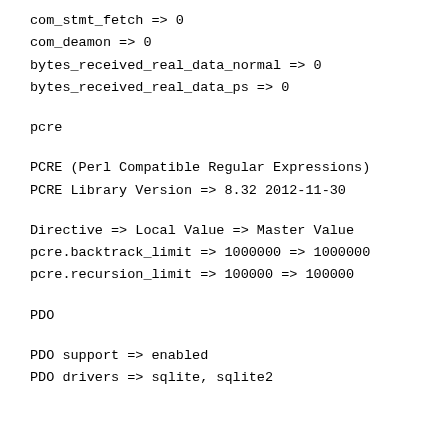com_stmt_fetch => 0
com_deamon => 0
bytes_received_real_data_normal => 0
bytes_received_real_data_ps => 0
pcre
PCRE (Perl Compatible Regular Expressions)
PCRE Library Version => 8.32 2012-11-30
Directive => Local Value => Master Value
pcre.backtrack_limit => 1000000 => 1000000
pcre.recursion_limit => 100000 => 100000
PDO
PDO support => enabled
PDO drivers => sqlite, sqlite2